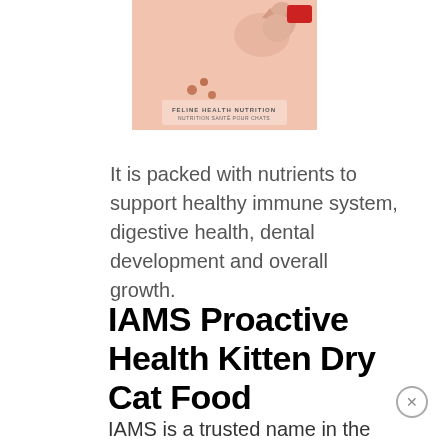[Figure (photo): IAMS cat food product packaging showing a cat illustration with pink/salmon background. Text reads 'FELINE HEALTH NUTRITION / NUTRITION SANTÉ POUR CHATS']
It is packed with nutrients to support healthy immune system, digestive health, dental development and overall growth.
IAMS Proactive Health Kitten Dry Cat Food
IAMS is a trusted name in the veterinary industry for balanced, whole food nutrition for kittens and cats.